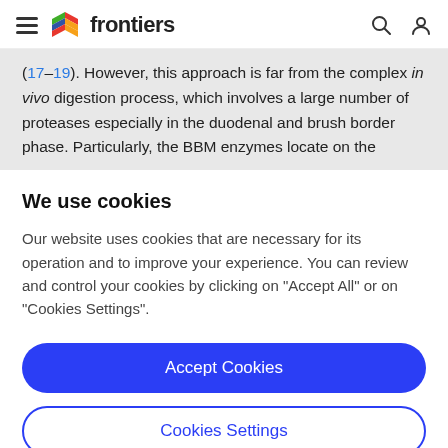frontiers
(17–19). However, this approach is far from the complex in vivo digestion process, which involves a large number of proteases especially in the duodenal and brush border phase. Particularly, the BBM enzymes locate on the
We use cookies
Our website uses cookies that are necessary for its operation and to improve your experience. You can review and control your cookies by clicking on "Accept All" or on "Cookies Settings".
Accept Cookies
Cookies Settings